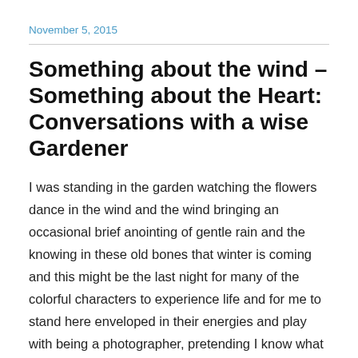November 5, 2015
Something about the wind – Something about the Heart: Conversations with a wise Gardener
I was standing in the garden watching the flowers dance in the wind and the wind bringing an occasional brief anointing of gentle rain and the knowing in these old bones that winter is coming and this might be the last night for many of the colorful characters to experience life and for me to stand here enveloped in their energies and play with being a photographer, pretending I know what I am doing.